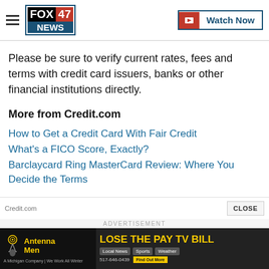FOX 47 NEWS | Watch Now
Please be sure to verify current rates, fees and terms with credit card issuers, banks or other financial institutions directly.
More from Credit.com
How to Get a Credit Card With Fair Credit
What's a FICO Score, Exactly?
Barclaycard Ring MasterCard Review: Where You Decide the Terms
Credit.com | CLOSE
[Figure (screenshot): Advertisement banner: Antenna Men - LOSE THE PAY TV BILL. Local News, Sports, Weather. A Michigan Company | We Work All Winter. 517-646-0439. Find Out More.]